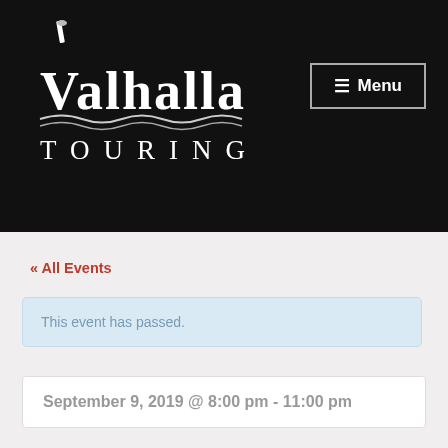Valhalla Touring — Menu
« All Events
This event has passed.
Dark Funeral NZ Tour – Wgtn
September 9, 2019 @ 8:00 pm - 11:00 pm